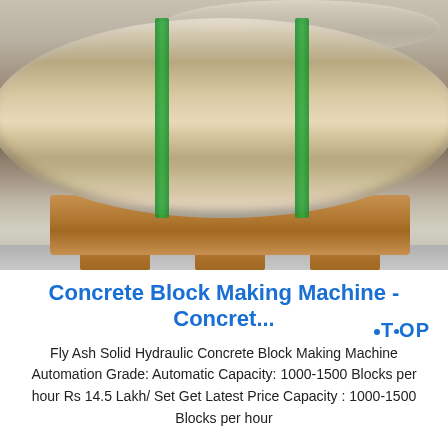[Figure (photo): Large metallic cylindrical roll (bronze/golden color) bound with green straps, resting on a wooden pallet on a concrete floor. A smaller roll is visible in the background.]
Concrete Block Making Machine - Concret...
Fly Ash Solid Hydraulic Concrete Block Making Machine Automation Grade: Automatic Capacity: 1000-1500 Blocks per hour Rs 14.5 Lakh/ Set Get Latest Price Capacity : 1000-1500 Blocks per hour